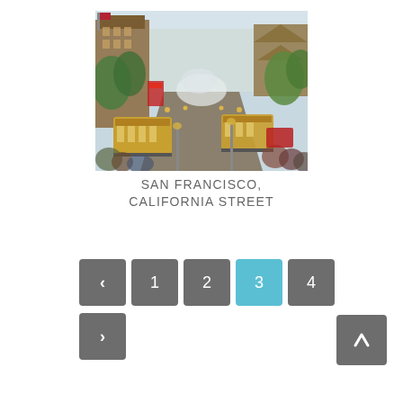[Figure (illustration): Colorful painting of San Francisco California Street with cable cars, crowds of people, city buildings including a pagoda-style structure, and green trees lining the busy street.]
SAN FRANCISCO, CALIFORNIA STREET
[Figure (other): Pagination controls: left arrow button (grey), buttons labeled 1, 2 (grey), 3 (active, blue), 4 (grey), and a right arrow button below. A scroll-to-top arrow button in grey on the bottom right.]